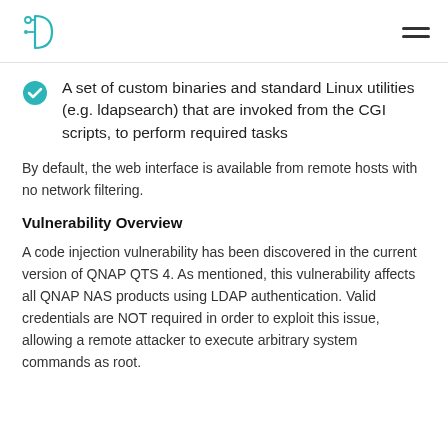D logo | hamburger menu
A set of custom binaries and standard Linux utilities (e.g. ldapsearch) that are invoked from the CGI scripts, to perform required tasks
By default, the web interface is available from remote hosts with no network filtering.
Vulnerability Overview
A code injection vulnerability has been discovered in the current version of QNAP QTS 4. As mentioned, this vulnerability affects all QNAP NAS products using LDAP authentication. Valid credentials are NOT required in order to exploit this issue, allowing a remote attacker to execute arbitrary system commands as root.